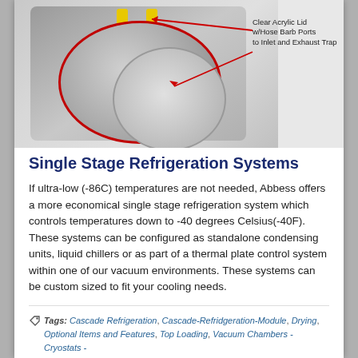[Figure (photo): Photo of a vacuum chamber with circular acrylic lid, two yellow knobs/ports visible at top, red circle highlighting the lid area, with a red arrow annotation pointing to the lid labeled 'Clear Acrylic Lid w/Hose Barb Ports to Inlet and Exhaust Trap']
Single Stage Refrigeration Systems
If ultra-low (-86C) temperatures are not needed, Abbess offers a more economical single stage refrigeration system which controls temperatures down to -40 degrees Celsius(-40F). These systems can be configured as standalone condensing units, liquid chillers or as part of a thermal plate control system within one of our vacuum environments. These systems can be custom sized to fit your cooling needs.
Tags: Cascade Refrigeration, Cascade-Refridgeration-Module, Drying, Optional Items and Features, Top Loading, Vacuum Chambers - Cryostats - Cryogenics - Abbess Instruments and Systems